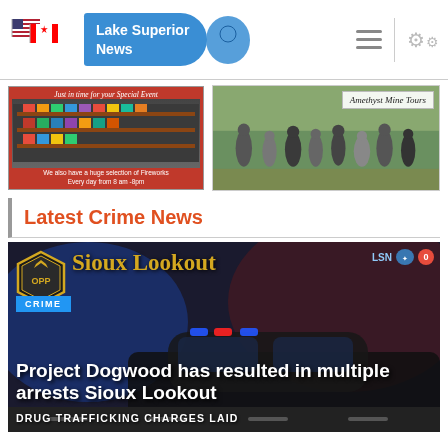Lake Superior News
[Figure (photo): Advertisement for fireworks store: 'Just in time for your Special Event' with store shelves of fireworks. 'We also have a huge selection of Fireworks Every day from 8 am -8pm']
[Figure (photo): Advertisement for Amethyst Mine Tours showing a group of people on a tour outdoors]
Latest Crime News
[Figure (photo): News article card with police car, OPP badge, CRIME label, 'Sioux Lookout' heading in gold, headline: 'Project Dogwood has resulted in multiple arrests Sioux Lookout', subheadline: 'DRUG TRAFFICKING CHARGES LAID']